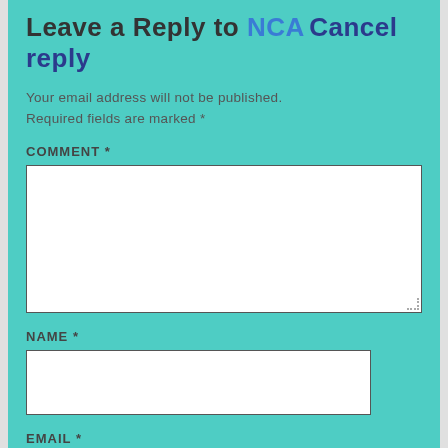Leave a Reply to NCA Cancel reply
Your email address will not be published. Required fields are marked *
COMMENT *
NAME *
EMAIL *